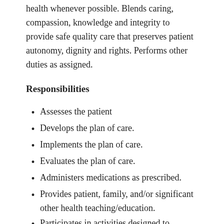health whenever possible. Blends caring, compassion, knowledge and integrity to provide safe quality care that preserves patient autonomy, dignity and rights. Performs other duties as assigned.
Responsibilities
Assesses the patient
Develops the plan of care.
Implements the plan of care.
Evaluates the plan of care.
Administers medications as prescribed.
Provides patient, family, and/or significant other health teaching/education.
Participates in activities designed to improve health care delivery.